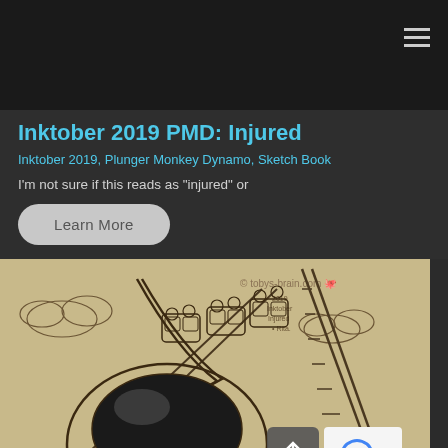Inktober 2019 PMD: Injured
Inktober 2019, Plunger Monkey Dynamo, Sketch Book
I'm not sure if this reads as "injured" or
Learn More
[Figure (illustration): Ink drawing on tan/kraft paper of a roller coaster with cartoon monkey characters riding it. A large smiling character face is visible at the bottom. Copyright watermark reads tobys-brain.com]